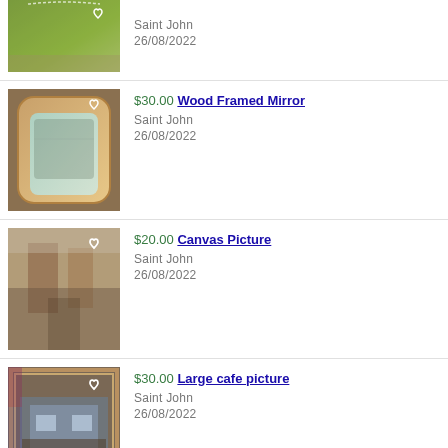[Figure (photo): Green pillow product thumbnail (partial view, top cut off)]
Saint John
26/08/2022
[Figure (photo): Wood framed mirror product thumbnail]
$30.00 Wood Framed Mirror
Saint John
26/08/2022
[Figure (photo): Canvas picture of a street scene product thumbnail]
$20.00 Canvas Picture
Saint John
26/08/2022
[Figure (photo): Large cafe picture product thumbnail]
$30.00 Large cafe picture
Saint John
26/08/2022
Learn what certified